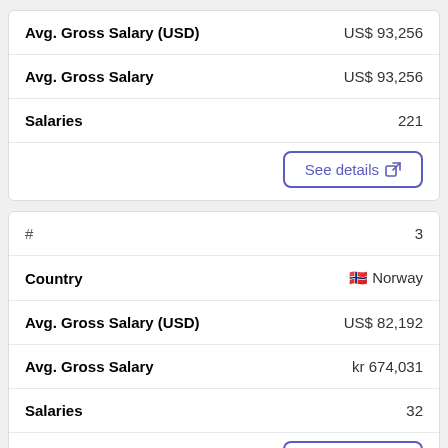| Field | Value |
| --- | --- |
| Avg. Gross Salary (USD) | US$ 93,256 |
| Avg. Gross Salary | US$ 93,256 |
| Salaries | 221 |
| Field | Value |
| --- | --- |
| # | 3 |
| Country | Norway |
| Avg. Gross Salary (USD) | US$ 82,192 |
| Avg. Gross Salary | kr 674,031 |
| Salaries | 32 |